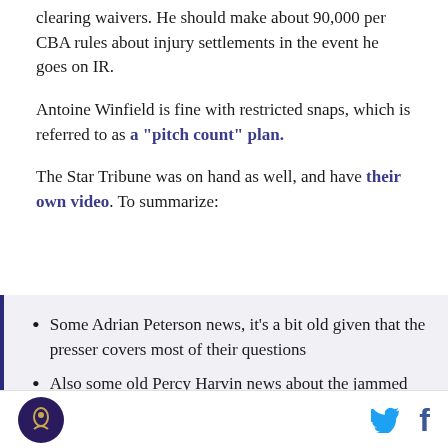clearing waivers. He should make about 90,000 per CBA rules about injury settlements in the event he goes on IR.
Antoine Winfield is fine with restricted snaps, which is referred to as a "pitch count" plan.
The Star Tribune was on hand as well, and have their own video. To summarize:
Some Adrian Peterson news, it's a bit old given that the presser covers most of their questions
Also some old Percy Harvin news about the jammed finger